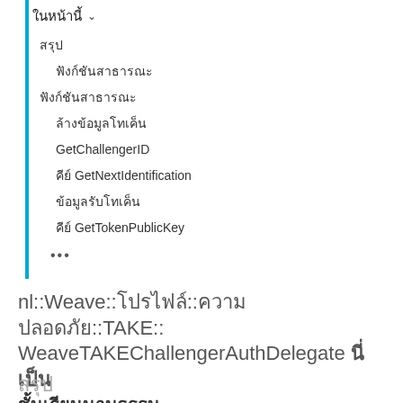ในหน้านี้ ▾
สรุป
ฟังก์ชันสาธารณะ
ฟังก์ชันสาธารณะ
ล้างข้อมูลโทเค็น
GetChallengerID
คีย์ GetNextIdentification
ข้อมูลรับโทเค็น
คีย์ GetTokenPublicKey
•••
nl::Weave::โปรไฟล์::ความปลอดภัย::TAKE::WeaveTAKEChallengerAuthDelegate นี่เป็น ชั้นเรียนนามธรรม
สรุป